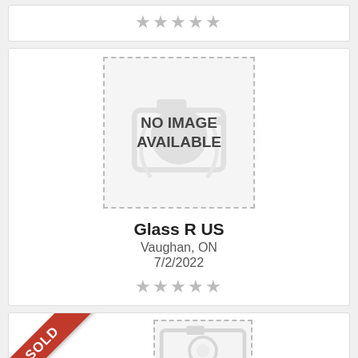[Figure (other): Five grey star rating icons in a row]
[Figure (other): Listing card for 'Glass R US' with no image placeholder, location Vaughan ON, date 7/2/2022, and five grey star ratings]
Glass R US
Vaughan, ON
7/2/2022
[Figure (other): Red SOLD banner ribbon in corner of a listing card, with a no-image placeholder box partially visible]